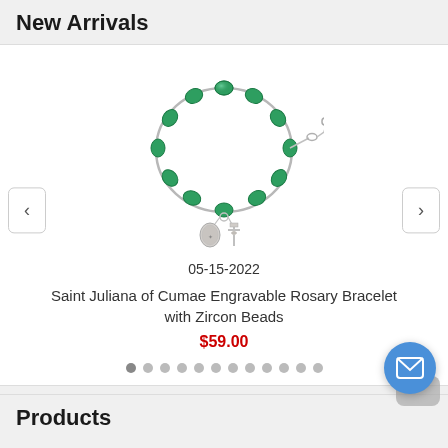New Arrivals
[Figure (photo): A rosary bracelet with green/teal zircon beads arranged in a circle, with silver chain links, a pendant medal of a saint, and a silver crucifix cross charm.]
05-15-2022
Saint Juliana of Cumae Engravable Rosary Bracelet with Zircon Beads
$59.00
Products